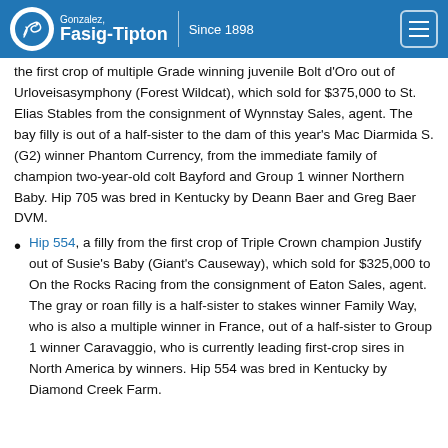Gonzalez. Fasig-Tipton | Since 1898
the first crop of multiple Grade winning juvenile Bolt d'Oro out of Urloveisasymphony (Forest Wildcat), which sold for $375,000 to St. Elias Stables from the consignment of Wynnstay Sales, agent. The bay filly is out of a half-sister to the dam of this year's Mac Diarmida S. (G2) winner Phantom Currency, from the immediate family of champion two-year-old colt Bayford and Group 1 winner Northern Baby. Hip 705 was bred in Kentucky by Deann Baer and Greg Baer DVM.
Hip 554, a filly from the first crop of Triple Crown champion Justify out of Susie's Baby (Giant's Causeway), which sold for $325,000 to On the Rocks Racing from the consignment of Eaton Sales, agent. The gray or roan filly is a half-sister to stakes winner Family Way, who is also a multiple winner in France, out of a half-sister to Group 1 winner Caravaggio, who is currently leading first-crop sires in North America by winners. Hip 554 was bred in Kentucky by Diamond Creek Farm.